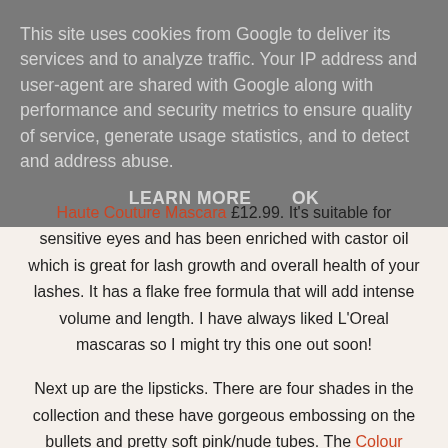This site uses cookies from Google to deliver its services and to analyze traffic. Your IP address and user-agent are shared with Google along with performance and security metrics to ensure quality of service, generate usage statistics, and to detect and address abuse.
LEARN MORE    OK
Haute Couture Mascara £12.99. It's suitable for sensitive eyes and has been enriched with castor oil which is great for lash growth and overall health of your lashes. It has a flake free formula that will add intense volume and length. I have always liked L'Oreal mascaras so I might try this one out soon!
Next up are the lipsticks. There are four shades in the collection and these have gorgeous embossing on the bullets and pretty soft pink/nude tubes. The Colour Riche Lipsticks retail for £9.99 and there is a shade for